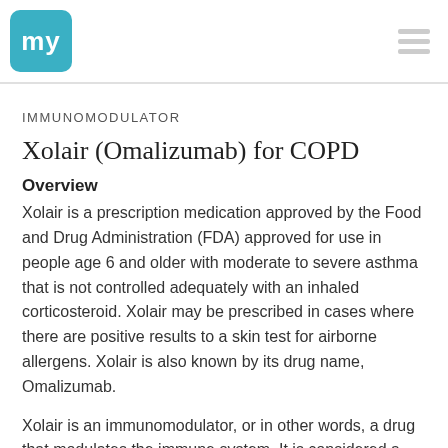my [logo] | hamburger menu
IMMUNOMODULATOR
Xolair (Omalizumab) for COPD
Overview
Xolair is a prescription medication approved by the Food and Drug Administration (FDA) approved for use in people age 6 and older with moderate to severe asthma that is not controlled adequately with an inhaled corticosteroid. Xolair may be prescribed in cases where there are positive results to a skin test for airborne allergens. Xolair is also known by its drug name, Omalizumab.
Xolair is an immunomodulator, or in other words, a drug that modulates the immune system. It is considered a biologic. Xolair is a genetically engineered antibody, or